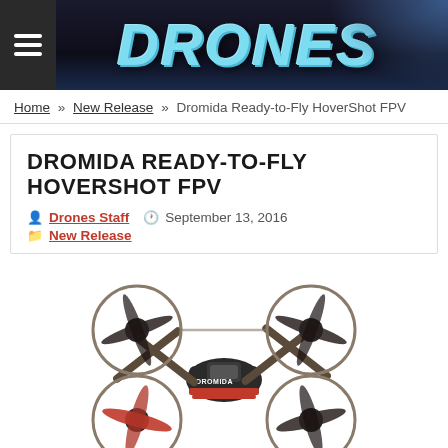DRONES
Home » New Release » Dromida Ready-to-Fly HoverShot FPV
DROMIDA READY-TO-FLY HOVERSHOT FPV
Drones Staff  September 13, 2016  New Release
[Figure (photo): Dromida HoverShot FPV quadcopter drone with red, black and gray color scheme, showing four propellers with guards]